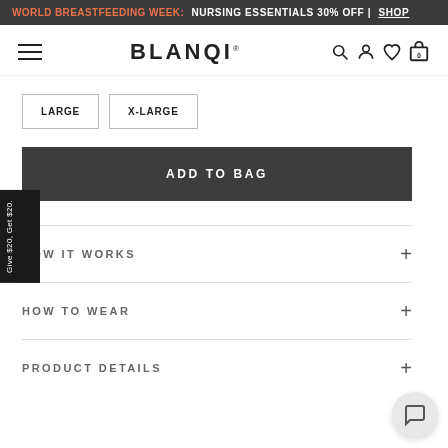WORLD BREASTFEEDING WEEK: NURSING ESSENTIALS 30% OFF | SHOP
[Figure (screenshot): BLANQI logo and navigation bar with hamburger menu, search, account, wishlist, and cart icons]
LARGE
X-LARGE
ADD TO BAG
HOW IT WORKS
HOW TO WEAR
PRODUCT DETAILS